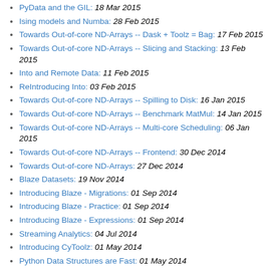PyData and the GIL: 18 Mar 2015
Ising models and Numba: 28 Feb 2015
Towards Out-of-core ND-Arrays -- Dask + Toolz = Bag: 17 Feb 2015
Towards Out-of-core ND-Arrays -- Slicing and Stacking: 13 Feb 2015
Into and Remote Data: 11 Feb 2015
ReIntroducing Into: 03 Feb 2015
Towards Out-of-core ND-Arrays -- Spilling to Disk: 16 Jan 2015
Towards Out-of-core ND-Arrays -- Benchmark MatMul: 14 Jan 2015
Towards Out-of-core ND-Arrays -- Multi-core Scheduling: 06 Jan 2015
Towards Out-of-core ND-Arrays -- Frontend: 30 Dec 2014
Towards Out-of-core ND-Arrays: 27 Dec 2014
Blaze Datasets: 19 Nov 2014
Introducing Blaze - Migrations: 01 Sep 2014
Introducing Blaze - Practice: 01 Sep 2014
Introducing Blaze - Expressions: 01 Sep 2014
Streaming Analytics: 04 Jul 2014
Introducing CyToolz: 01 May 2014
Python Data Structures are Fast: 01 May 2014
Multiple Dispatch: 25 Feb 2014